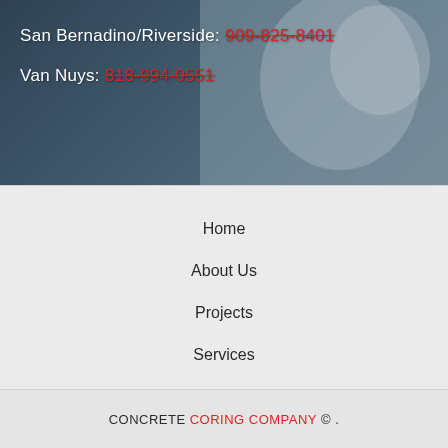[Figure (photo): Background photo of a person smiling, partially visible, with a dark overlay. Contains contact information text overlaid.]
San Bernadino/Riverside: 909-825-8401
Van Nuys: 818-994-0551
Home
About Us
Projects
Services
Testimonials
Contact Us
Blog
CONCRETE CORING COMPANY © .